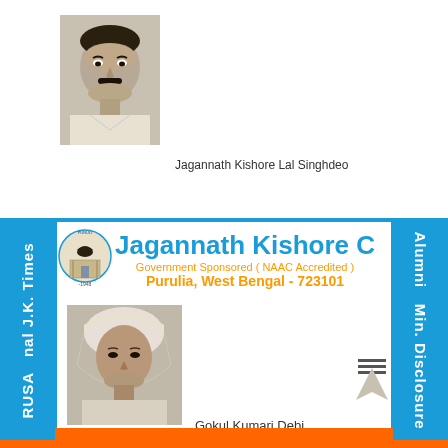[Figure (photo): Black and white photo of Jagannath Kishore Lal Singhdeo, a man with mustache]
Jagannath Kishore Lal Singhdeo
[Figure (logo): Jagannath Kishore College circular logo/seal]
Jagannath Kishore College
Government Sponsored ( NAAC Accredited )
Purulia, West Bengal - 723101
[Figure (photo): Black and white photo of Gokul Kumari Debi, an elderly woman wearing a head covering]
Gokul Kumari Debi
RUSA  nal J.K. Times
Alumni  Min. Disclosure